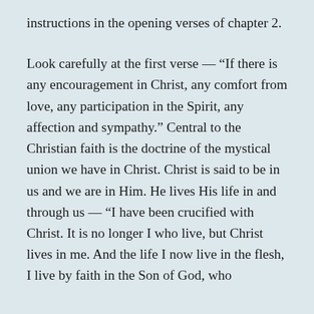instructions in the opening verses of chapter 2.
Look carefully at the first verse — “If there is any encouragement in Christ, any comfort from love, any participation in the Spirit, any affection and sympathy.” Central to the Christian faith is the doctrine of the mystical union we have in Christ. Christ is said to be in us and we are in Him. He lives His life in and through us — “I have been crucified with Christ. It is no longer I who live, but Christ lives in me. And the life I now live in the flesh, I live by faith in the Son of God, who